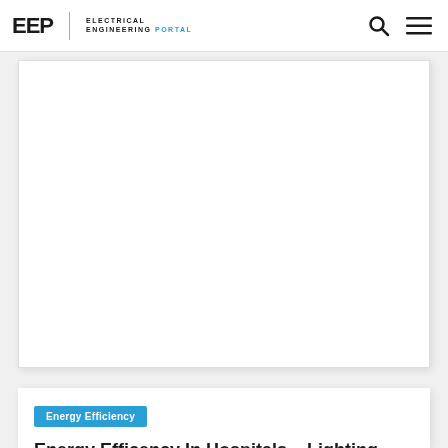EEP ELECTRICAL ENGINEERING PORTAL
[Figure (other): Advertisement or placeholder image area, white rectangle with border and shadow]
Energy Efficiency
Energy Efficency In Hospitals – Lighting (part 5)